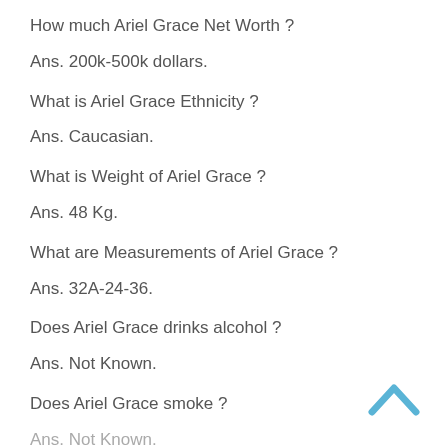How much Ariel Grace Net Worth ?
Ans. 200k-500k dollars.
What is Ariel Grace Ethnicity ?
Ans. Caucasian.
What is Weight of Ariel Grace ?
Ans. 48 Kg.
What are Measurements of Ariel Grace ?
Ans. 32A-24-36.
Does Ariel Grace drinks alcohol ?
Ans. Not Known.
Does Ariel Grace smoke ?
Ans. Not Known.